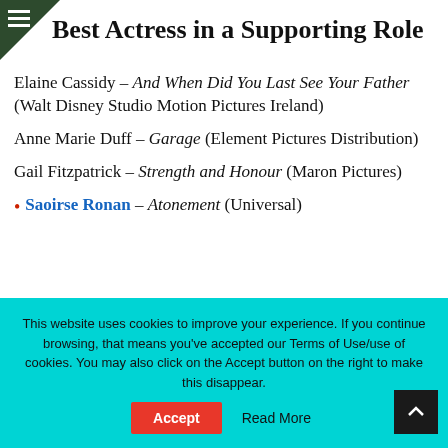Best Actress in a Supporting Role
Elaine Cassidy – And When Did You Last See Your Father (Walt Disney Studio Motion Pictures Ireland)
Anne Marie Duff – Garage (Element Pictures Distribution)
Gail Fitzpatrick – Strength and Honour (Maron Pictures)
• Saoirse Ronan – Atonement (Universal)
This website uses cookies to improve your experience. If you continue browsing, that means you've accepted our Terms of Use/use of cookies. You may also click on the Accept button on the right to make this disappear.